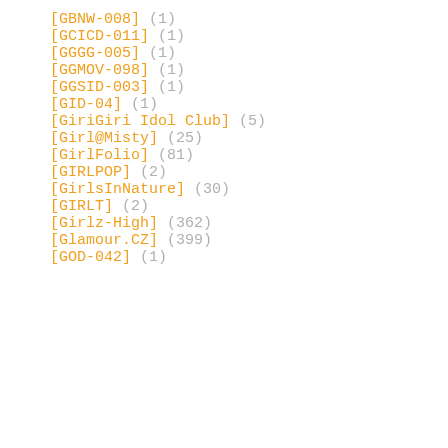[GBNW-008] (1)
[GCICD-011] (1)
[GGGG-005] (1)
[GGMOV-098] (1)
[GGSID-003] (1)
[GID-04] (1)
[GiriGiri Idol Club] (5)
[Girl@Misty] (25)
[GirlFolio] (81)
[GIRLPOP] (2)
[GirlsInNature] (30)
[GIRLT] (2)
[Girlz-High] (362)
[Glamour.CZ] (399)
[GOD-042] (1)